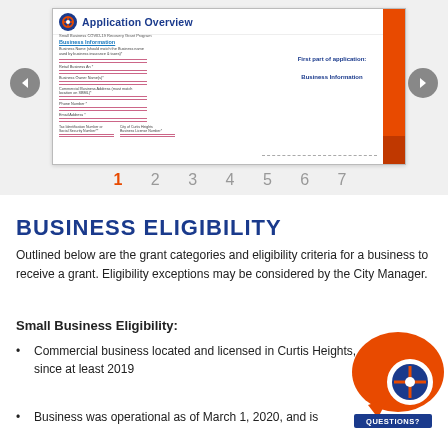[Figure (screenshot): Application Overview slide showing a form for Small Business COVID-19 Recovery Grant Program with Business Information fields on the left and an orange vertical bar on the right. Navigation arrows and page numbers 1-7 below.]
BUSINESS ELIGIBILITY
Outlined below are the grant categories and eligibility criteria for a business to receive a grant. Eligibility exceptions may be considered by the City Manager.
Small Business Eligibility:
Commercial business located and licensed in Curtis Heights, since at least 2019
Business was operational as of March 1, 2020, and is